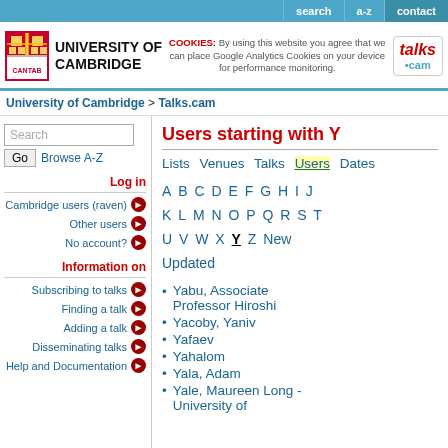search | a-z | contact
[Figure (logo): University of Cambridge coat of arms and name, with COOKIES notice and Talks.cam logo]
University of Cambridge > Talks.cam
Search Go Browse A-Z
Log in
Cambridge users (raven)
Other users
No account?
Information on
Subscribing to talks
Finding a talk
Adding a talk
Disseminating talks
Help and Documentation
Users starting with Y
Lists Venues Talks Users Dates
A B C D E F G H I J K L M N O P Q R S T U V W X Y Z New Updated
Yabu, Associate Professor Hiroshi
Yacoby, Yaniv
Yafaev
Yahalom
Yala, Adam
Yale, Maureen Long - University of